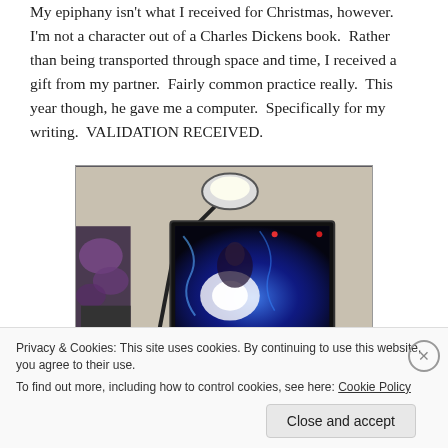My epiphany isn't what I received for Christmas, however. I'm not a character out of a Charles Dickens book. Rather than being transported through space and time, I received a gift from my partner. Fairly common practice really. This year though, he gave me a computer. Specifically for my writing. VALIDATION RECEIVED.
[Figure (photo): A desk lamp illuminating a computer monitor showing a fantasy character illustration with blue lighting effects. Purple orchid flowers visible on the left side.]
Privacy & Cookies: This site uses cookies. By continuing to use this website, you agree to their use.
To find out more, including how to control cookies, see here: Cookie Policy
Close and accept